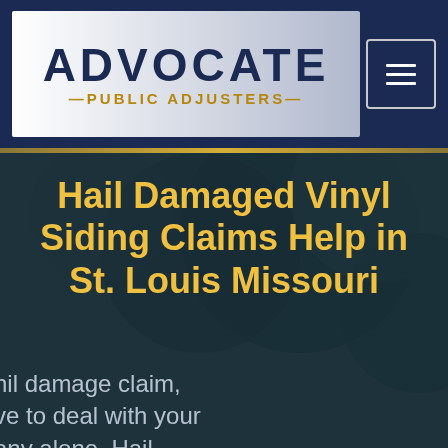[Figure (logo): Advocate Public Adjusters logo — dark navy background header with white/grey gradient logo box containing 'ADVOCATE' in large bold dark blue letters and '—PUBLIC ADJUSTERS—' in gold below, with a hamburger menu button on the right]
Hail Damaged Vinyl Siding Claims Help in St. Louis Missouri
hail damage claim, ve to deal with your any alone. Hail siding claims can be ed than they appear. insurance and